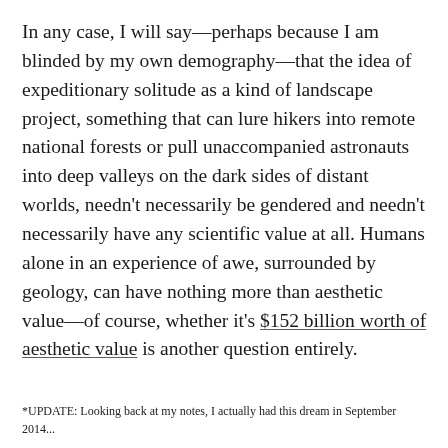In any case, I will say—perhaps because I am blinded by my own demography—that the idea of expeditionary solitude as a kind of landscape project, something that can lure hikers into remote national forests or pull unaccompanied astronauts into deep valleys on the dark sides of distant worlds, needn't necessarily be gendered and needn't necessarily have any scientific value at all. Humans alone in an experience of awe, surrounded by geology, can have nothing more than aesthetic value—of course, whether it's $152 billion worth of aesthetic value is another question entirely.
*UPDATE: Looking back at my notes, I actually had this dream in September 2014...